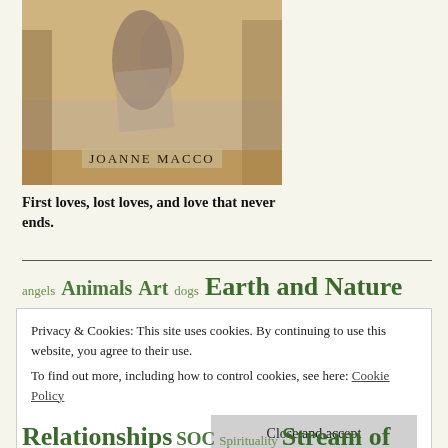[Figure (illustration): Book cover showing a vintage sepia-toned photograph of a couple embracing, with 'JoAnne Macco' text at the bottom of the cover]
First loves, lost loves, and love that never ends.
angels  Animals  Art  dogs  Earth and Nature
Privacy & Cookies: This site uses cookies. By continuing to use this website, you agree to their use.
To find out more, including how to control cookies, see here: Cookie Policy
Close and accept
Relationships  SOC  Spirituality  Stream of